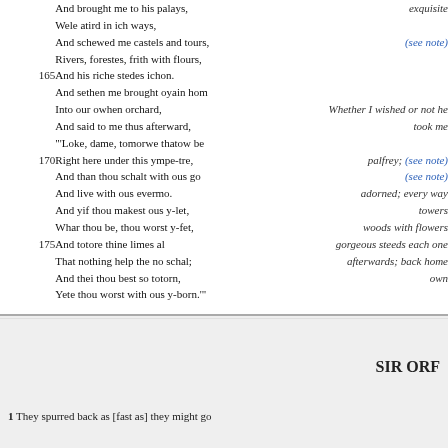And brought me to his palays,
Wele atird in ich ways,
And schewed me castels and tours,
Rivers, forestes, frith with flours,
165 And his riche stedes ichon.
And sethen me brought oyain hom
Into our owhen orchard,
And said to me thus afterward,
"'Loke, dame, tomorwe thatow be
170 Right here under this ympe-tre,
And than thou schalt with ous go
And live with ous evermo.
And yif thou makest ous y-let,
Whar thou be, thou worst y-fet,
175 And totore thine limes al
That nothing help the no schal;
And thei thou best so totorn,
Yete thou worst with ous y-born.'"
exquisite
(see note)
Whether I wished or not he took me
palfrey; (see note)
(see note)
adorned; every way
towers
woods with flowers
gorgeous steeds each one
afterwards; back home
own
SIR ORF
1 They spurred back as [fast as] they might go